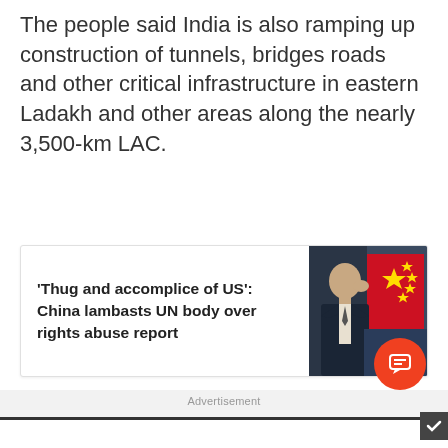The people said India is also ramping up construction of tunnels, bridges roads and other critical infrastructure in eastern Ladakh and other areas along the nearly 3,500-km LAC.
'Thug and accomplice of US': China lambasts UN body over rights abuse report
[Figure (photo): A person in a suit with a Chinese flag in the background]
Advertisement